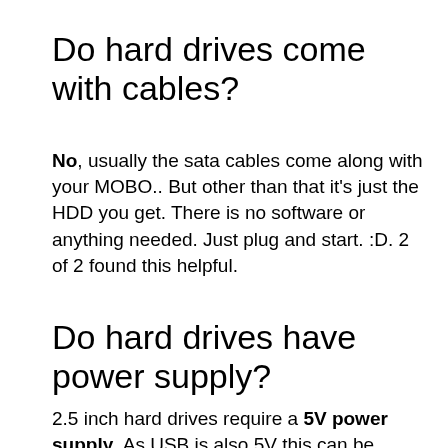Do hard drives come with cables?
No, usually the sata cables come along with your MOBO.. But other than that it's just the HDD you get. There is no software or anything needed. Just plug and start. :D. 2 of 2 found this helpful.
Do hard drives have power supply?
2.5 inch hard drives require a 5V power supply. As USB is also 5V this can be supplied by the USB port assuming there is enough current available through the ...